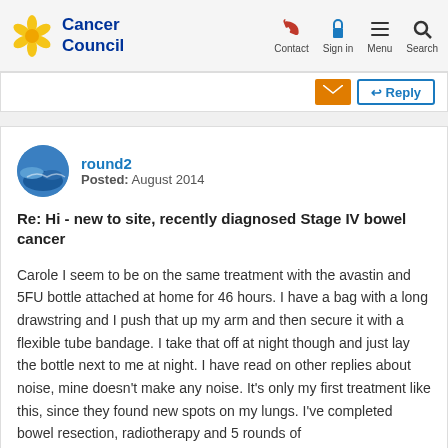Cancer Council — Contact, Sign in, Menu, Search
round2
Posted: August 2014
Re: Hi - new to site, recently diagnosed Stage IV bowel cancer
Carole I seem to be on the same treatment with the avastin and 5FU bottle attached at home for 46 hours. I have a bag with a long drawstring and I push that up my arm and then secure it with a flexible tube bandage. I take that off at night though and just lay the bottle next to me at night. I have read on other replies about noise, mine doesn't make any noise. It's only my first treatment like this, since they found new spots on my lungs. I've completed bowel resection, radiotherapy and 5 rounds of